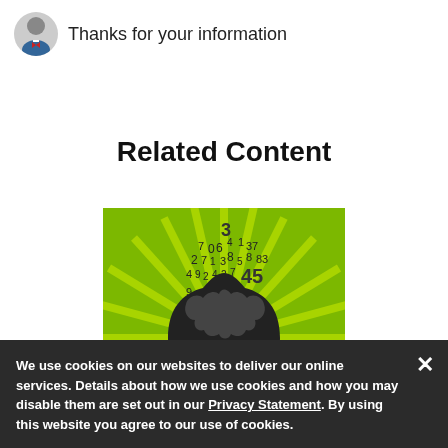Thanks for your information
Related Content
[Figure (illustration): Silhouette of a human head in profile with numbers floating above on a green starburst background, representing mathematical thinking or brain activity.]
We use cookies on our websites to deliver our online services. Details about how we use cookies and how you may disable them are set out in our Privacy Statement. By using this website you agree to our use of cookies.